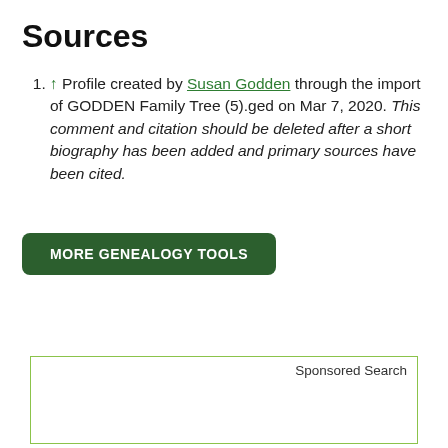Sources
↑ Profile created by Susan Godden through the import of GODDEN Family Tree (5).ged on Mar 7, 2020. This comment and citation should be deleted after a short biography has been added and primary sources have been cited.
MORE GENEALOGY TOOLS
Sponsored Search